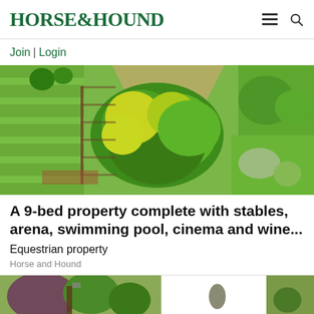HORSE&HOUND
Join | Login
[Figure (photo): Aerial view of a manicured garden with green lawns, ornamental trees, hedges and pathways viewed from above]
A 9-bed property complete with stables, arena, swimming pool, cinema and wine...
Equestrian property
Horse and Hound
[Figure (photo): Partial view of a second property article image showing trees and a building, cropped at bottom of page]